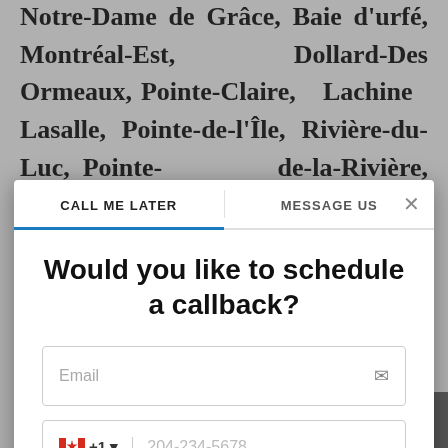Thérèse, Kirkland, Île Bizard, Deux-Montagnes, Pierrefonds-Roxboro, Notre-Dame de Grâce, Baie d'urfé, Montréal-Est, Dollard-Des Ormeaux, Pointe-Claire, Lachine, Lasalle, Pointe-de-l'Île, Rivière-du-Luc, Pointe-de-la-Rivière, Côte-des-Neiges, Chauvières, Sainte-Foy – Sillers, Beaumont, Dundas, Saint-Charles, Lonigate, St. Nicolas, La-, Trois-Rivière, Boucherville, Mont-Laurier, Notre-Dame-de-Mont-Carmel, Saint-Alexis, Grand-Saint-Antoine, Lachenaie– Lachienne, Chateauguay, R-, Kamouraska, Trois-Pistols
CALL ME LATER
MESSAGE US
Would you like to schedule a callback?
Email
204-234-5678
Mon, Aug 29
13:00
CALL ME LATER